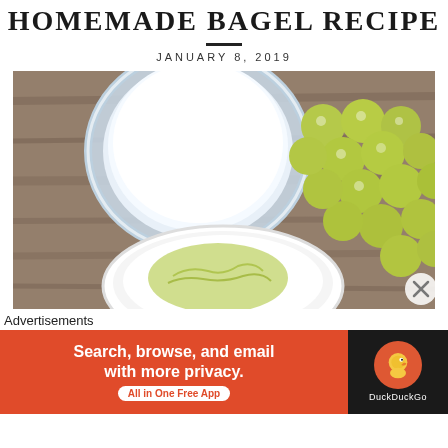HOMEMADE BAGEL RECIPE
JANUARY 8, 2019
[Figure (photo): Overhead photo of a glass of milk, a bunch of green grapes, and a white bowl with green avocado spread, all on a rustic wooden surface.]
Advertisements
[Figure (other): DuckDuckGo advertisement banner: 'Search, browse, and email with more privacy. All in One Free App' with DuckDuckGo logo on dark background.]